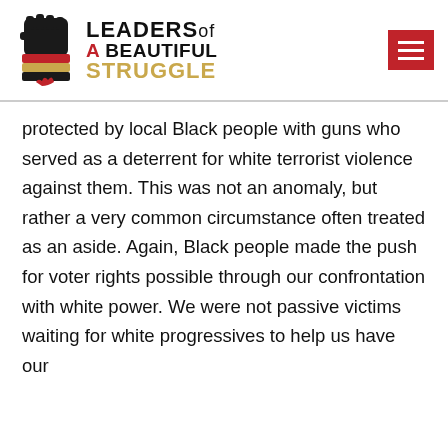[Figure (logo): Leaders of a Beautiful Struggle logo with a raised Black fist wrapped in red, gold, and black bands, alongside the organization name in stylized text]
protected by local Black people with guns who served as a deterrent for white terrorist violence against them. This was not an anomaly, but rather a very common circumstance often treated as an aside. Again, Black people made the push for voter rights possible through our confrontation with white power. We were not passive victims waiting for white progressives to help us have our